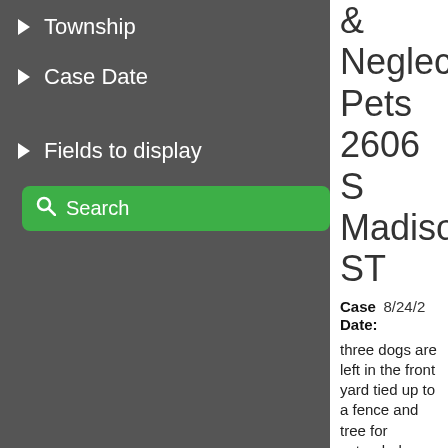Township
Case Date
Fields to display
Search
& Neglected Pets 2606 S Madison ST
Case Date: 8/24/2...
three dogs are left in the front yard tied up to a fence and tree for extended periods of time. You can see the brown dirt they run back and